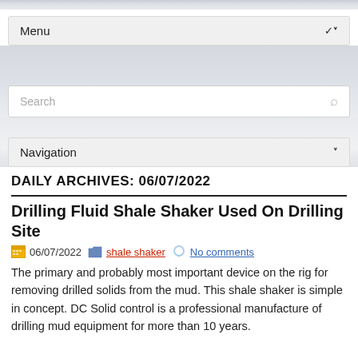Menu
Navigation
DAILY ARCHIVES: 06/07/2022
Drilling Fluid Shale Shaker Used On Drilling Site
06/07/2022   shale shaker   No comments
The primary and probably most important device on the rig for removing drilled solids from the mud. This shale shaker is simple in concept. DC Solid control is a professional manufacture of drilling mud equipment for more than 10 years.